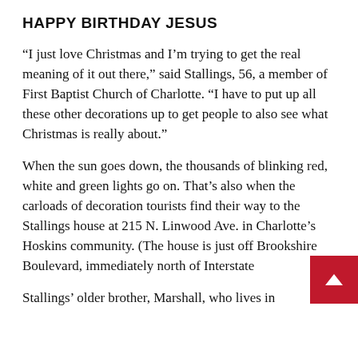HAPPY BIRTHDAY JESUS
“I just love Christmas and I’m trying to get the real meaning of it out there,” said Stallings, 56, a member of First Baptist Church of Charlotte. “I have to put up all these other decorations up to get people to also see what Christmas is really about.”
When the sun goes down, the thousands of blinking red, white and green lights go on. That’s also when the carloads of decoration tourists find their way to the Stallings house at 215 N. Linwood Ave. in Charlotte’s Hoskins community. (The house is just off Brookshire Boulevard, immediately north of Interstate
Stallings’ older brother, Marshall, who lives in